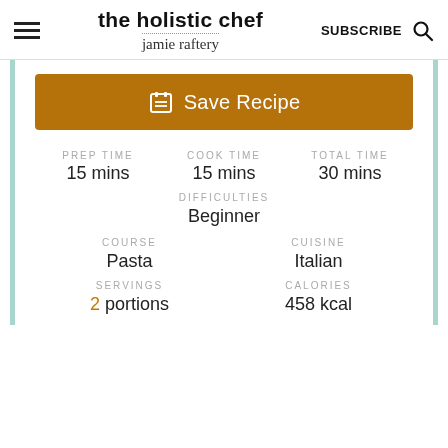the holistic chef | jamie raftery | SUBSCRIBE
Save Recipe
| PREP TIME | COOK TIME | TOTAL TIME |
| --- | --- | --- |
| 15 mins | 15 mins | 30 mins |
DIFFICULTIES
Beginner
| COURSE | CUISINE |
| --- | --- |
| Pasta | Italian |
| SERVINGS | CALORIES |
| --- | --- |
| 2 portions | 458 kcal |